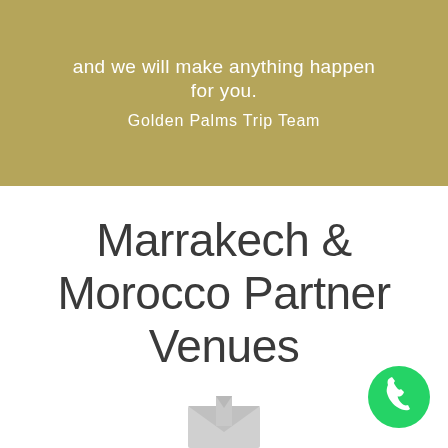and we will make anything happen for you.
Golden Palms Trip Team
Marrakech & Morocco Partner Venues
[Figure (logo): Partial logo/icon visible at bottom center of page, light gray color]
[Figure (other): WhatsApp green circle button with phone handset icon, bottom right corner]